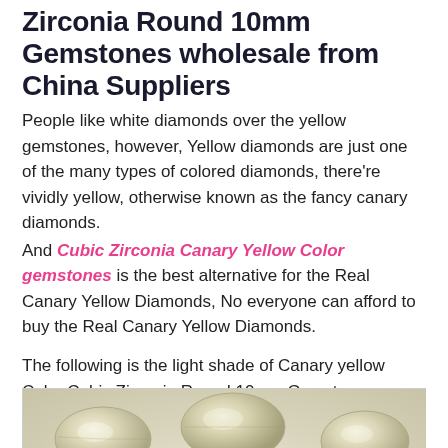Zirconia Round 10mm Gemstones wholesale from China Suppliers
People like white diamonds over the yellow gemstones, however, Yellow diamonds are just one of the many types of colored diamonds, there're vividly yellow, otherwise known as the fancy canary diamonds. And Cubic Zirconia Canary Yellow Color gemstones is the best alternative for the Real Canary Yellow Diamonds, No everyone can afford to buy the Real Canary Yellow Diamonds.
The following is the light shade of Canary yellow Color Cubic Zirconia Round 10mm Gemstones:
[Figure (photo): Photo of multiple light yellow/canary colored oval cubic zirconia gemstones scattered on a white/light grey background, watermarked with FURONG GEMS]